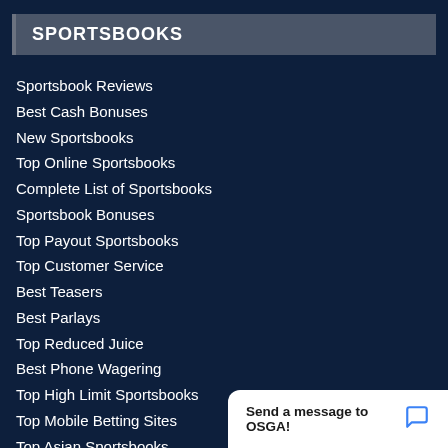SPORTSBOOKS
Sportsbook Reviews
Best Cash Bonuses
New Sportsbooks
Top Online Sportsbooks
Complete List of Sportsbooks
Sportsbook Bonuses
Top Payout Sportsbooks
Top Customer Service
Best Teasers
Best Parlays
Top Reduced Juice
Best Phone Wagering
Top High Limit Sportsbooks
Top Mobile Betting Sites
Top Asian Sportsbooks
Sportsbook Contact List
Sportsbook Blacklist
Live Betting Spor…
Send a message to OSGA!